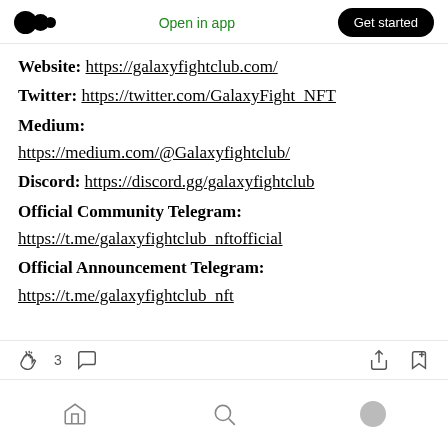Medium app navigation bar with logo, 'Open in app', and 'Get started' button
Website: https://galaxyfightclub.com/
Twitter: https://twitter.com/GalaxyFight_NFT
Medium: https://medium.com/@Galaxyfightclub/
Discord: https://discord.gg/galaxyfightclub
Official Community Telegram: https://t.me/galaxyfightclub_nftofficial
Official Announcement Telegram: https://t.me/galaxyfightclub_nft
Bottom action bar with clap (3), comment icons, share and bookmark icons; bottom navigation with home, search, profile